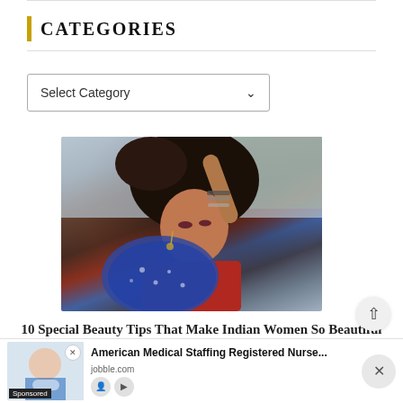CATEGORIES
Select Category
[Figure (photo): Indian woman in traditional attire with blue floral dupatta and red top, hand raised behind her head, looking down, wearing bangles and earrings, outdoor background]
10 Special Beauty Tips That Make Indian Women So Beautiful
[Figure (photo): Advertisement banner: American Medical Staffing Registered Nurse... from jobble.com with a photo of a smiling female medical professional]
American Medical Staffing Registered Nurse...
jobble.com